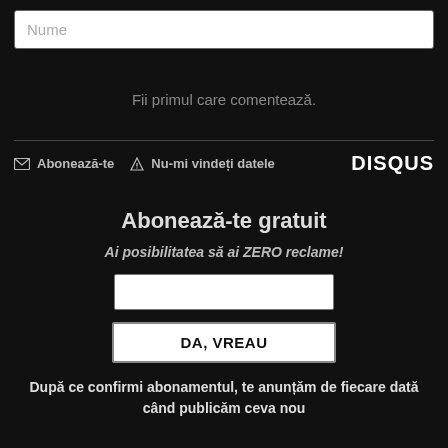Nume
Fii primul care comentează.
Abonează-te  Nu-mi vindeți datele  DISQUS
Abonează-te gratuit
Ai posibilitatea să ai ZERO reclame!
DA, VREAU
După ce confirmi abonamentul, te anunțăm de fiecare dată când publicăm ceva nou